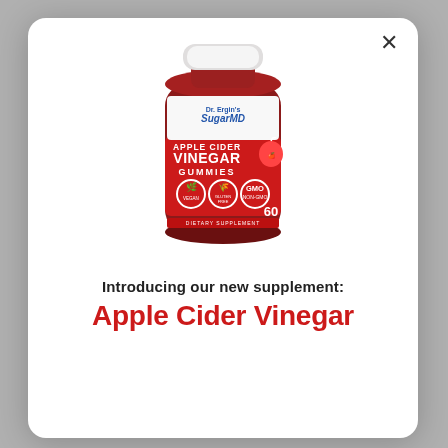[Figure (photo): Product bottle of SugarMD Apple Cider Vinegar Gummies, 60 pieces, with red label showing vegan, gluten-free, and non-GMO icons, white cap.]
Introducing our new supplement:
Apple Cider Vinegar